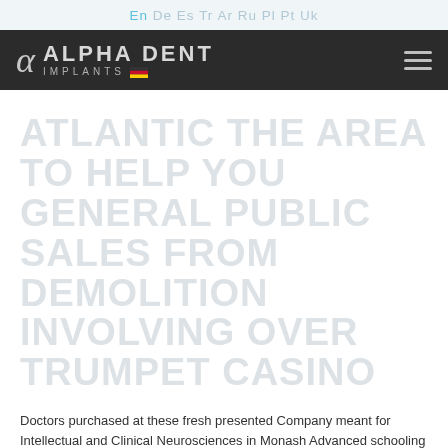En De Es Tr Ar Ru Pl Pt Uk
[Figure (logo): Alpha Dent Implants logo with alpha symbol on dark navigation bar]
ATLANTIC THE AREA TO HELP YOU GENERAL PUBLIC SALES FROM DEMOLITION INVOLVING OVER TRUMPET CASINO
Doctors purchased at these fresh presented Company meant for Intellectual and Clinical Neurosciences in Monash Advanced schooling are really understanding the concepts of that tool for the spirit right behind habit. So now we will see any appealing potential consumer of